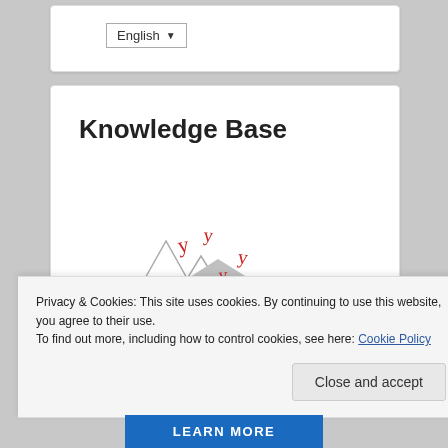English ▼
Knowledge Base
[Figure (illustration): An illustration of a house with mountains behind it, red flame symbols, and wifi signal arcs indicating a smart home or disaster scenario.]
Privacy & Cookies: This site uses cookies. By continuing to use this website, you agree to their use.
To find out more, including how to control cookies, see here: Cookie Policy
Close and accept
LEARN MORE